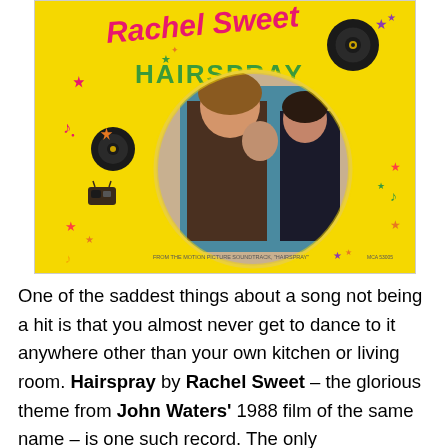[Figure (photo): Album cover for 'Hairspray (Theme Song)' by Rachel Sweet. Yellow background with colorful decorative elements including vinyl records, stars, musical notes, and a radio. A circular photo in the center shows scenes from the film with people dancing. Text reads 'Rachel Sweet' in pink, 'HAIRSPRAY' in green, '(Theme Song)' below, and 'FROM THE MOTION PICTURE SOUNDTRACK, HAIRSPRAY' at the bottom.]
One of the saddest things about a song not being a hit is that you almost never get to dance to it anywhere other than your own kitchen or living room. Hairspray by Rachel Sweet – the glorious theme from John Waters' 1988 film of the same name – is one such record. The only